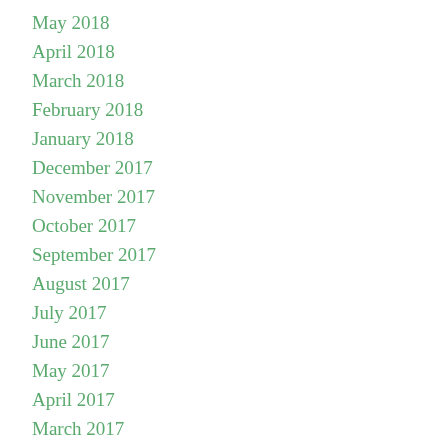May 2018
April 2018
March 2018
February 2018
January 2018
December 2017
November 2017
October 2017
September 2017
August 2017
July 2017
June 2017
May 2017
April 2017
March 2017
February 2017
January 2017
December 2016